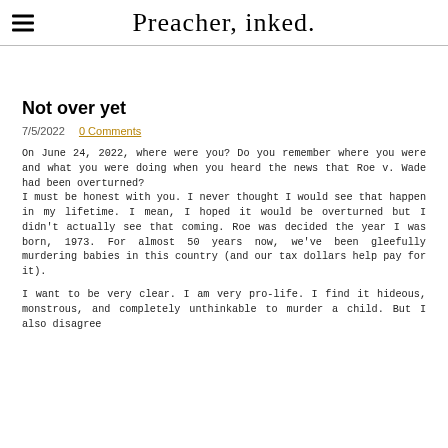Preacher, inked.
Not over yet
7/5/2022  0 Comments
On June 24, 2022, where were you? Do you remember where you were and what you were doing when you heard the news that Roe v. Wade had been overturned?
I must be honest with you. I never thought I would see that happen in my lifetime. I mean, I hoped it would be overturned but I didn't actually see that coming. Roe was decided the year I was born, 1973. For almost 50 years now, we've been gleefully murdering babies in this country (and our tax dollars help pay for it).
I want to be very clear. I am very pro-life. I find it hideous, monstrous, and completely unthinkable to murder a child. But I also disagree